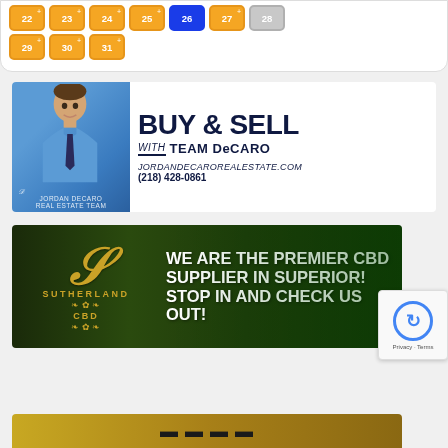[Figure (screenshot): Calendar date picker strip showing golden/highlighted date buttons for days 29, 30, 31 with plus superscript markers, one blue highlighted button, and a gray button]
[Figure (illustration): Real estate advertisement for Team DeCaro showing a man in a blue shirt with text BUY & SELL with TEAM DeCARO, JordanDecaroRealEstate.com, (218) 428-0861]
[Figure (illustration): Sutherland CBD advertisement on dark green background with gold S logo, text: WE ARE THE PREMIER CBD SUPPLIER IN SUPERIOR! STOP IN AND CHECK US OUT!]
[Figure (illustration): Partial view of a bottom advertisement with golden/yellow background, partially visible]